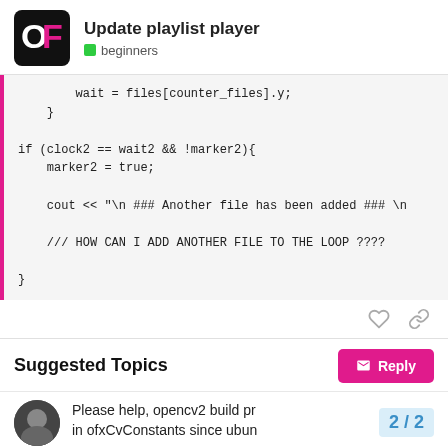Update playlist player — beginners
Suggested Topics
Please help, opencv2 build pr... in ofxCvConstants since ubun...
2 / 2